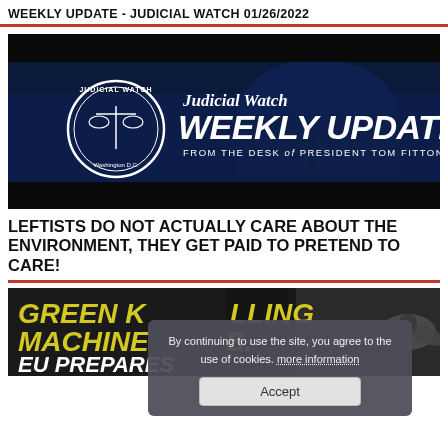WEEKLY UPDATE - JUDICIAL WATCH 01/26/2022
[Figure (illustration): Judicial Watch Weekly Update banner image showing the US Capitol building at night in blue tones, with Judicial Watch seal/logo on left and text 'Judicial Watch WEEKLY UPDATE FROM THE DESK of PRESIDENT TOM FITTON' in white on right]
LEFTISTS DO NOT ACTUALLY CARE ABOUT THE ENVIRONMENT, THEY GET PAID TO PRETEND TO CARE!
[Figure (illustration): Partially visible image with bold yellow text reading 'GREEN KILLING MACHINES: EU PREPARES TO ABANDON...' with a bat visible on the right side, dark background]
By continuing to use the site, you agree to the use of cookies. more information
Accept